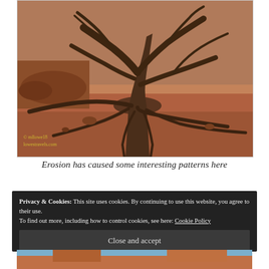[Figure (photo): Desert scene with a gnarled, dead tree with twisted exposed roots sitting on red/orange sandy ground. Watermark reads '© mllowe18 lowestravels.com' in bottom left corner.]
Erosion has caused some interesting patterns here
Privacy & Cookies: This site uses cookies. By continuing to use this website, you agree to their use.
To find out more, including how to control cookies, see here: Cookie Policy
Close and accept
[Figure (photo): Partial view of a desert rock formation with blue sky, cropped at bottom of page.]